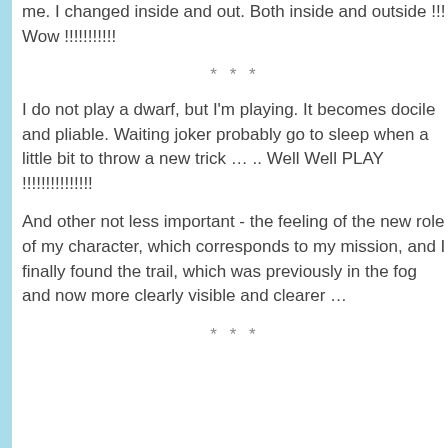me. I changed inside and out. Both inside and outside !!! Wow !!!!!!!!!!!
***
I do not play a dwarf, but I'm playing. It becomes docile and pliable. Waiting joker probably go to sleep when a little bit to throw a new trick … .. Well Well PLAY !!!!!!!!!!!!!!!
And other not less important - the feeling of the new role of my character, which corresponds to my mission, and I finally found the trail, which was previously in the fog and now more clearly visible and clearer …
***